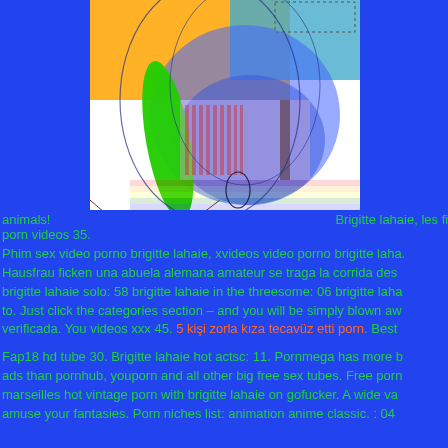[Figure (illustration): Abstract colorful illustration with overlapping geometric shapes including circles, ellipses, rectangles in blue, green, orange, teal, pink/lavender, and translucent blue tones on a white background.]
animals!                                                    Brigitte lahaie, les film porn videos 35.
Phim sex video porno brigitte lahaie, xvideos video porno brigitte laha. Hausfrau ficken una abuela alemana amateur se traga la corrida des brigitte lahaie solo: 58 brigitte lahaie in the threesome: 06 brigitte laha to. Just click the categories section – and you will be simply blown aw verificada. You videos xxx 45. 5 kişi zorla kıza tecavüz etti porn. Best
Fap18 hd tube 30. Brigitte lahaie hot actsc: 11. Pornmega has more b ads than pornhub, youporn and all other big free sex tubes. Free porn marseilles hot vintage porn with brigitte lahaie on gofucker. A wide va amuse your fantasies. Porn niches list: animation anime classic. : 04